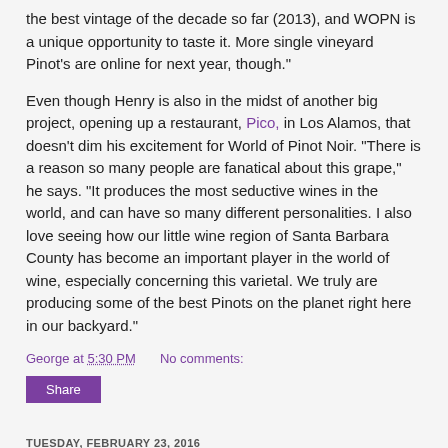the best vintage of the decade so far (2013), and WOPN is a unique opportunity to taste it. More single vineyard Pinot's are online for next year, though."
Even though Henry is also in the midst of another big project, opening up a restaurant, Pico, in Los Alamos, that doesn't dim his excitement for World of Pinot Noir. "There is a reason so many people are fanatical about this grape," he says. "It produces the most seductive wines in the world, and can have so many different personalities. I also love seeing how our little wine region of Santa Barbara County has become an important player in the world of wine, especially concerning this varietal. We truly are producing some of the best Pinots on the planet right here in our backyard."
George at 5:30 PM    No comments:
Share
TUESDAY, FEBRUARY 23, 2016
Balletto's First Time to the Ball